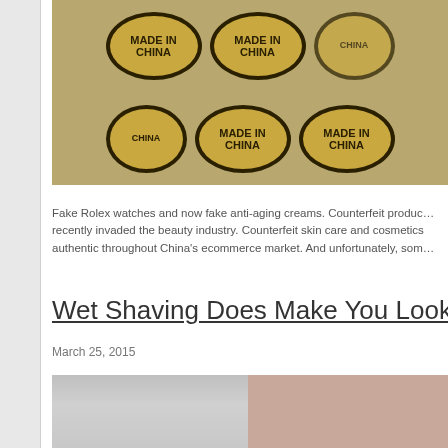[Figure (photo): Multiple gold oval 'Made in China' badges/labels arranged on a dark surface]
Fake Rolex watches and now fake anti-aging creams. Counterfeit products have recently invaded the beauty industry. Counterfeit skin care and cosmetics sold as authentic throughout China's ecommerce market. And unfortunately, som…
Wet Shaving Does Make You Look Y…
March 25, 2015
[Figure (photo): Woman's face with shaving cream on lower half of face, dramatic makeup]